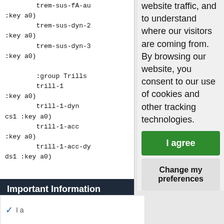trem-sus-fA-au
:key a0)
        trem-sus-dyn-2
:key a0)
        trem-sus-dyn-3
:key a0)

        :group Trills
        trill-1
:key a0)
        trill-1-dyn
cs1 :key a0)
        trill-1-acc
:key a0)
        trill-1-acc-dy
ds1 :key a0)
website traffic, and to understand where our visitors are coming from. By browsing our website, you consent to our use of cookies and other tracking technologies.
I agree
Change my preferences
Important Information
Terms of Use Privacy Policy
✓ I a